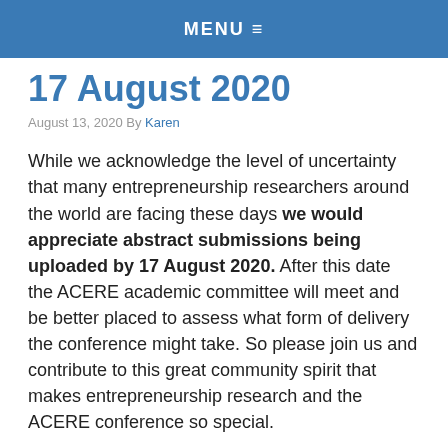MENU ≡
17 August 2020
August 13, 2020 By Karen
While we acknowledge the level of uncertainty that many entrepreneurship researchers around the world are facing these days we would appreciate abstract submissions being uploaded by 17 August 2020. After this date the ACERE academic committee will meet and be better placed to assess what form of delivery the conference might take. So please join us and contribute to this great community spirit that makes entrepreneurship research and the ACERE conference so special.